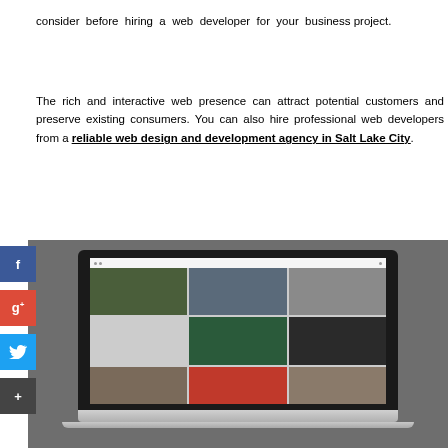consider before hiring a web developer for your business project.
The rich and interactive web presence can attract potential customers and preserve existing consumers. You can also hire professional web developers from a reliable web design and development agency in Salt Lake City.
[Figure (photo): A laptop computer displaying a photo gallery website grid with multiple nature and travel photographs, shown on a grey background. Social media share buttons (Facebook, Google+, Twitter, Add) appear on the left side.]